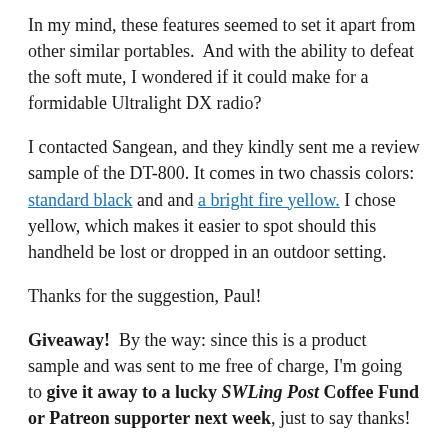In my mind, these features seemed to set it apart from other similar portables. And with the ability to defeat the soft mute, I wondered if it could make for a formidable Ultralight DX radio?
I contacted Sangean, and they kindly sent me a review sample of the DT-800. It comes in two chassis colors: standard black and and a bright fire yellow. I chose yellow, which makes it easier to spot should this handheld be lost or dropped in an outdoor setting.
Thanks for the suggestion, Paul!
Giveaway! By the way: since this is a product sample and was sent to me free of charge, I'm going to give it away to a lucky SWLing Post Coffee Fund or Patreon supporter next week, just to say thanks!
Now, let's get on with the review...